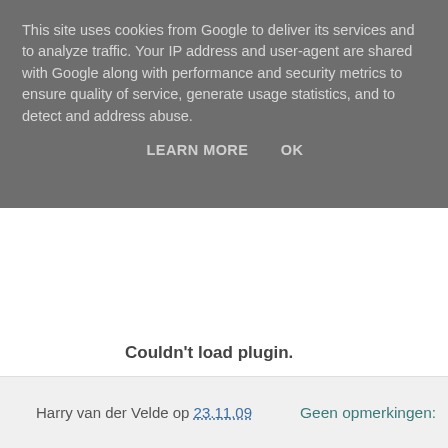This site uses cookies from Google to deliver its services and to analyze traffic. Your IP address and user-agent are shared with Google along with performance and security metrics to ensure quality of service, generate usage statistics, and to detect and address abuse.
LEARN MORE    OK
Couldn't load plugin.
View more presentations from sp.a.
Harry van der Velde op 23.11.09    Geen opmerkingen: